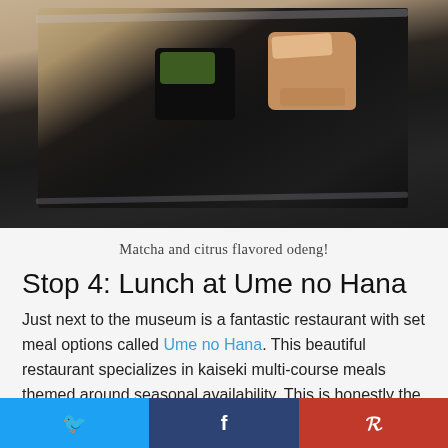[Figure (photo): Photo of sushi/odeng pieces on a dark tray — a dark piece with green matcha topping and a lighter citrus-colored piece]
Matcha and citrus flavored odeng!
Stop 4: Lunch at Ume no Hana
Just next to the museum is a fantastic restaurant with set meal options called Ume no Hana. This beautiful restaurant specializes in kaiseki multi-course meals themed around seasonal availability. This is honestly the perfect place to spend an hour having a nice lunch, especially if you're wearing a kimono!